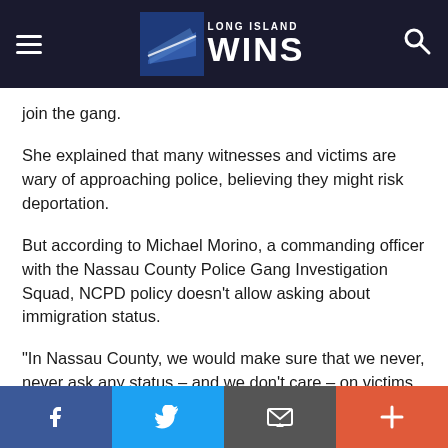Long Island Wins
join the gang.
She explained that many witnesses and victims are wary of approaching police, believing they might risk deportation.
But according to Michael Morino, a commanding officer with the Nassau County Police Gang Investigation Squad, NCPD policy doesn't allow asking about immigration status.
“In Nassau County, we would make sure that we never, never ask any status – and we don’t care – on victims and witnesses,” Morino told CNN.
With...
Facebook | Twitter | Email | Plus